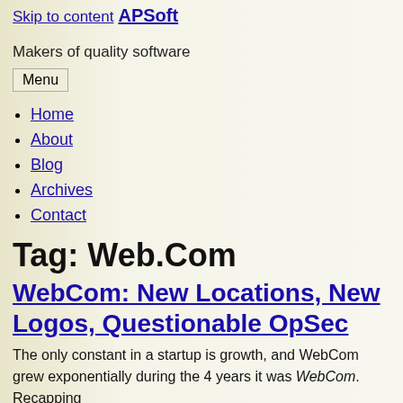Skip to content
APSoft
Makers of quality software
Home
About
Blog
Archives
Contact
Tag: Web.Com
WebCom: New Locations, New Logos, Questionable OpSec
The only constant in a startup is growth, and WebCom grew exponentially during the 4 years it was WebCom. Recapping